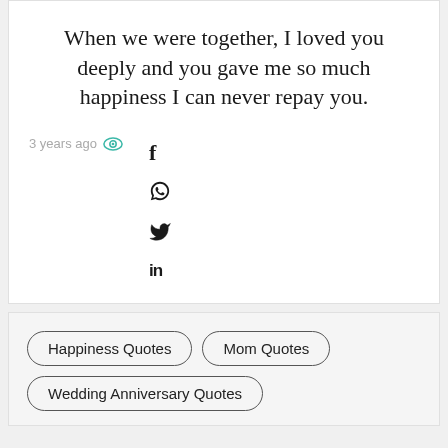When we were together, I loved you deeply and you gave me so much happiness I can never repay you.
3 years ago
Happiness Quotes
Mom Quotes
Wedding Anniversary Quotes